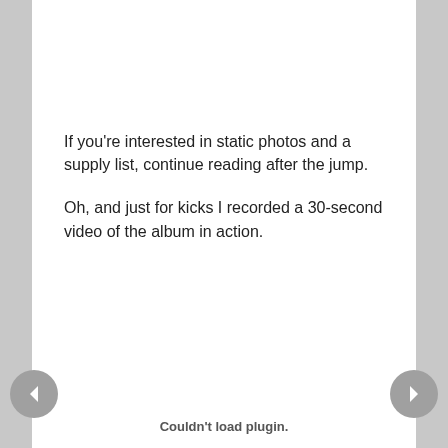If you're interested in static photos and a supply list, continue reading after the jump.
Oh, and just for kicks I recorded a 30-second video of the album in action.
Couldn't load plugin.